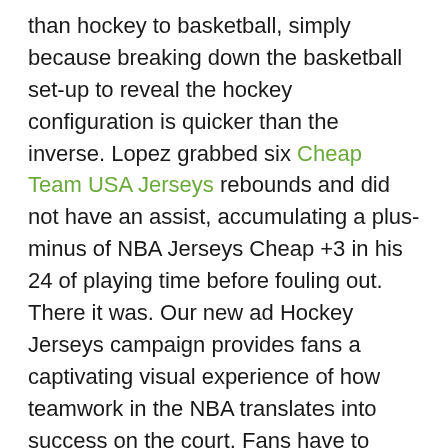than hockey to basketball, simply because breaking down the basketball set-up to reveal the hockey configuration is quicker than the inverse. Lopez grabbed six Cheap Team USA Jerseys rebounds and did not have an assist, accumulating a plus-minus of NBA Jerseys Cheap +3 in his 24 of playing time before fouling out. There it was. Our new ad Hockey Jerseys campaign provides fans a captivating visual experience of how teamwork in the NBA translates into success on the court. Fans have to have patience – and everyone has to have patience – in understanding what that does mean. headquarters of Birmingham, Ala. We did a good job locking in on defense and put a lot of pressure on the paint, Kuzma said. Not surprisingly, Garnett, at plus-46, has the best rating, according to Wolves statistics.